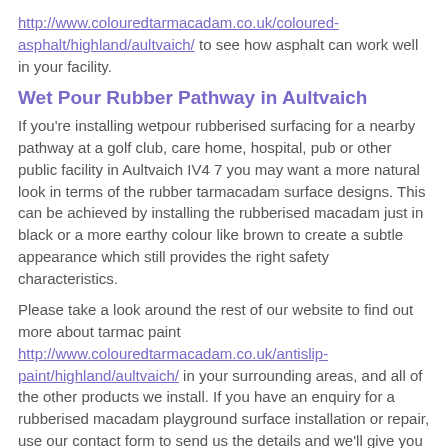http://www.colouredtarmacadam.co.uk/coloured-asphalt/highland/aultvaich/ to see how asphalt can work well in your facility.
Wet Pour Rubber Pathway in Aultvaich
If you're installing wetpour rubberised surfacing for a nearby pathway at a golf club, care home, hospital, pub or other public facility in Aultvaich IV4 7 you may want a more natural look in terms of the rubber tarmacadam surface designs. This can be achieved by installing the rubberised macadam just in black or a more earthy colour like brown to create a subtle appearance which still provides the right safety characteristics.
Please take a look around the rest of our website to find out more about tarmac paint http://www.colouredtarmacadam.co.uk/antislip-paint/highland/aultvaich/ in your surrounding areas, and all of the other products we install. If you have an enquiry for a rubberised macadam playground surface installation or repair, use our contact form to send us the details and we'll give you a price for the works.
What is Rubber Macadam?